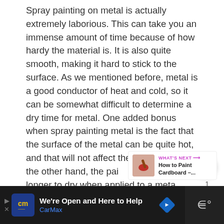Spray painting on metal is actually extremely laborious. This can take you an immense amount of time because of how hardy the material is. It is also quite smooth, making it hard to stick to the surface. As we mentioned before, metal is a good conductor of heat and cold, so it can be somewhat difficult to determine a dry time for metal. One added bonus when spray painting metal is the fact that the surface of the metal can be quite hot, and that will not affect the paint job. On the other hand, the paint will take much longer to dry when applied to a metal surface than it would with other materials.
[Figure (other): Heart/like button (pink heart icon) with count of 1, and a share button below it]
[Figure (other): What's Next panel with thumbnail of red paint brush on cardboard, linking to 'How to Paint Cardboard -...']
[Figure (other): Advertisement bar: CarMax 'We're Open and Here to Help' ad with blue logo box showing 'cm' text, blue navigation icon, and dark right panel with sound/media icon]